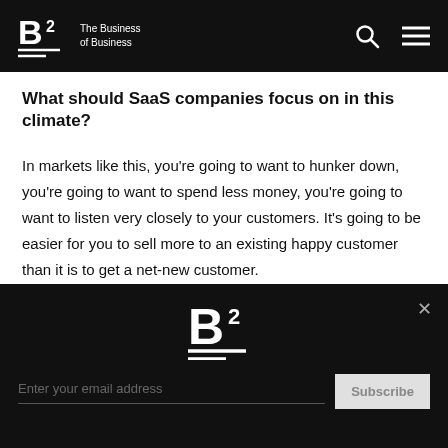B² The Business of Business
What should SaaS companies focus on in this climate?
In markets like this, you're going to want to hunker down, you're going to want to spend less money, you're going to want to listen very closely to your customers. It's going to be easier for you to sell more to an existing happy customer than it is to get a net-new customer.
There are all kinds of charts out there right now talking about growth versus free cash flow. When they start talking about free cash flow, that's not about hiring more
B² — Enter your email address | Subscribe